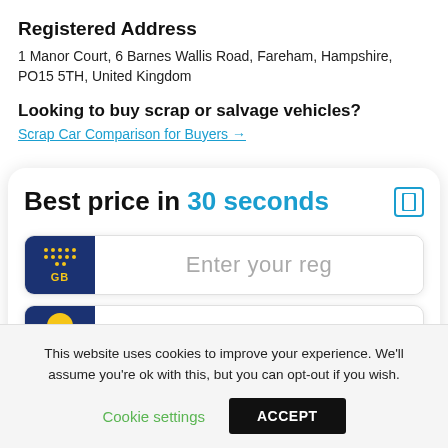Registered Address
1 Manor Court, 6 Barnes Wallis Road, Fareham, Hampshire, PO15 5TH, United Kingdom
Looking to buy scrap or salvage vehicles?
Scrap Car Comparison for Buyers →
Best price in 30 seconds
[Figure (screenshot): Vehicle registration plate input field with GB badge showing EU stars and GB text, with placeholder text 'Enter your reg']
This website uses cookies to improve your experience. We'll assume you're ok with this, but you can opt-out if you wish.
Cookie settings   ACCEPT